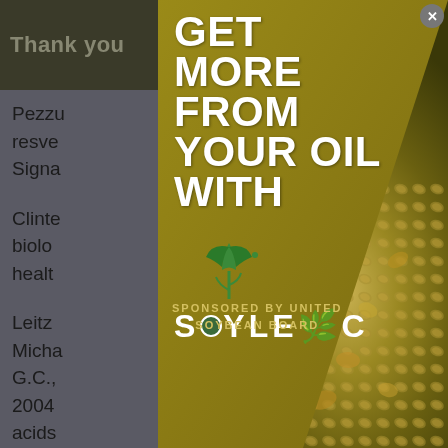Thank you... tools you
Pezzu... s of resve... Signa...
Clinto... istry, biolo... n healt... 5-51.
Leitz... Mich... litz, G.C., 2004... acids...
[Figure (illustration): Modal popup advertisement for Soyleic brand with gold/olive background and textured soybean image. Large white bold text reads 'GET MORE FROM YOUR OUR OIL WITH'. Green plant/leaf logo above the SOYLEIC wordmark in white. Sponsored by United Soybean Board text at bottom. Close X button at top right.]